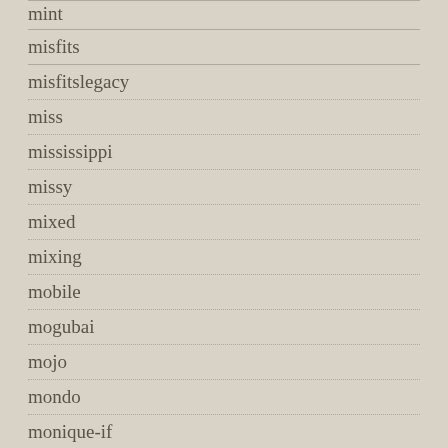mint
misfits
misfitslegacy
miss
mississippi
missy
mixed
mixing
mobile
mogubai
mojo
mondo
monique-if
monkees
mono
monster